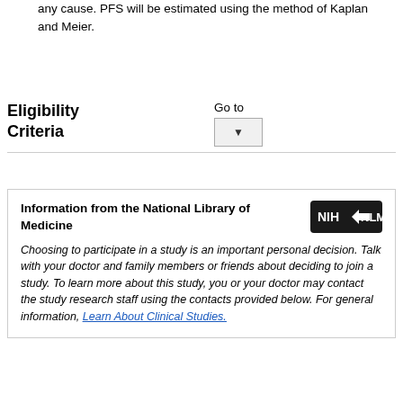any cause. PFS will be estimated using the method of Kaplan and Meier.
Eligibility Criteria
Go to [dropdown]
Information from the National Library of Medicine
Choosing to participate in a study is an important personal decision. Talk with your doctor and family members or friends about deciding to join a study. To learn more about this study, you or your doctor may contact the study research staff using the contacts provided below. For general information, Learn About Clinical Studies.